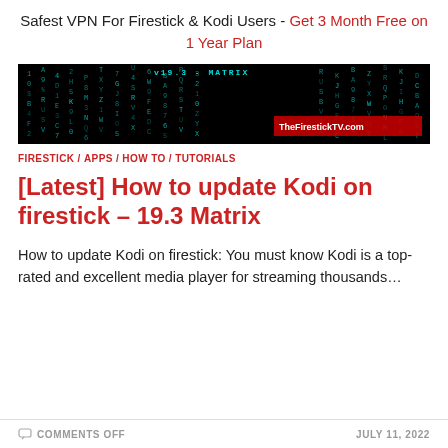Safest VPN For Firestick & Kodi Users - Get 3 Month Free on 1 Year Plan
[Figure (screenshot): Dark matrix-style screenshot with cyan binary/code characters on black background, with text 'v19.3 - MATRIX' at top and 'TheFirestickTV.com' watermark at bottom right]
FIRESTICK / APPS / HOW TO / TUTORIALS
[Latest] How to update Kodi on firestick – 19.3 Matrix
How to update Kodi on firestick: You must know Kodi is a top-rated and excellent media player for streaming thousands…
COMMENTS OFF   JULY 11, 2022